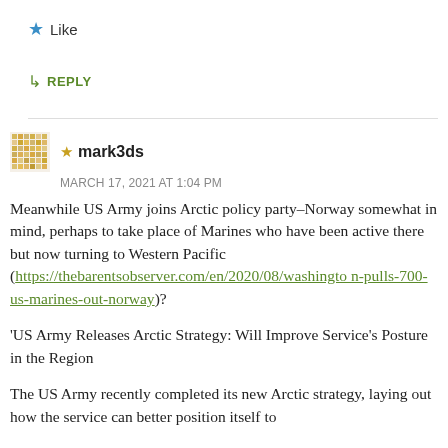★ Like
↳ REPLY
★ mark3ds
MARCH 17, 2021 AT 1:04 PM
Meanwhile US Army joins Arctic policy party–Norway somewhat in mind, perhaps to take place of Marines who have been active there but now turning to Western Pacific (https://thebarentsobserver.com/en/2020/08/washington-pulls-700-us-marines-out-norway)?
'US Army Releases Arctic Strategy: Will Improve Service's Posture in the Region
The US Army recently completed its new Arctic strategy, laying out how the service can better position itself to